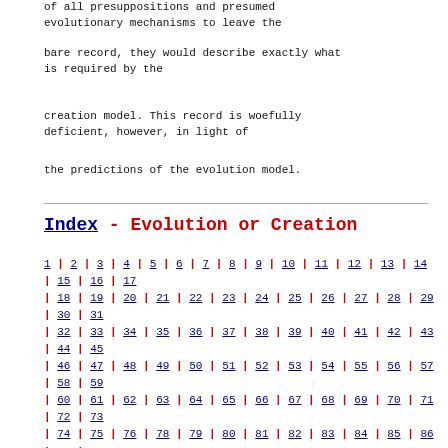of all presuppositions and presumed evolutionary mechanisms to leave the
bare record, they would describe exactly what is required by the
creation model. This record is woefully deficient, however, in light of
the predictions of the evolution model.
Index - Evolution or Creation
1 | 2 | 3 | 4 | 5 | 6 | 7 | 8 | 9 | 10 | 11 | 12 | 13 | 14 | 15 | 16 | 17 | 18 | 19 | 20 | 21 | 22 | 23 | 24 | 25 | 26 | 27 | 28 | 29 | 30 | 31 | 32 | 33 | 34 | 35 | 36 | 37 | 38 | 39 | 40 | 41 | 42 | 43 | 44 | 45 | 46 | 47 | 48 | 49 | 50 | 51 | 52 | 53 | 54 | 55 | 56 | 57 | 58 | 59 | 60 | 61 | 62 | 63 | 64 | 65 | 66 | 67 | 68 | 69 | 70 | 71 | 72 | 73 | 74 | 75 | 76 | 78 | 79 | 80 | 81 | 82 | 83 | 84 | 85 | 86 | 87 | 88 | 89 | 90 | 91 | 92 | 93 | 94 | 95 | 96 | 97 | 98 | 99 | 100 | 101 | 102 | 103 | 104 | 105 | 106 | 107 | 108 | 109 | 110 | 111 | 112 | 113 | 114 | 115 | 116 | 117 | 118 | 119 | 120 | 121 | 122 | 123 | 124 | 125 | 126 | 127 | 128 | 129 | 130 | 131 | 132 | 133 | 135 | 136 | 137 | 138 | 139 | 140 | 141 | 142 | 143 | 144 | 145 | 146 | 147 | 148 | 149 | 150 | 151 | 152 | 153 | 154 | 155 | 156 | 157 | 158 | 159 | 160 | 161 | 162 | 163 | 164 | 165 | 166 | 168 | 169 | 170 | 171 | 172 | 173 | 174 | 175 | 176 | 177 | 178 | 179 | 180 | 181 | 182 | 183 | 184 | 185 | 186 | 187 | 188 | 189 | 190 | 191